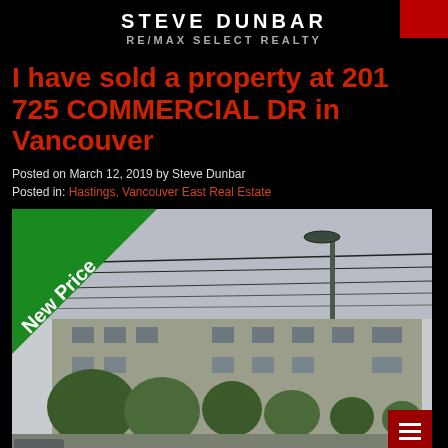STEVE DUNBAR RE/MAX SELECT REALTY
I have sold a property at 201 725 COMMERCIAL DR in Vancouver
Posted on March 12, 2019 by Steve Dunbar
Posted in: Hastings, Vancouver East Real Estate
[Figure (photo): Exterior photo of a multi-storey condominium building at 725 Commercial Dr, Vancouver, with trees in front and overhead wires. A green diagonal 'New Price' banner is in the top-left corner of the photo.]